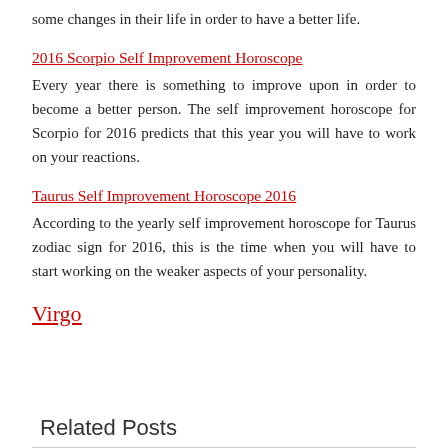some changes in their life in order to have a better life.
2016 Scorpio Self Improvement Horoscope
Every year there is something to improve upon in order to become a better person. The self improvement horoscope for Scorpio for 2016 predicts that this year you will have to work on your reactions.
Taurus Self Improvement Horoscope 2016
According to the yearly self improvement horoscope for Taurus zodiac sign for 2016, this is the time when you will have to start working on the weaker aspects of your personality.
Virgo
Related Posts